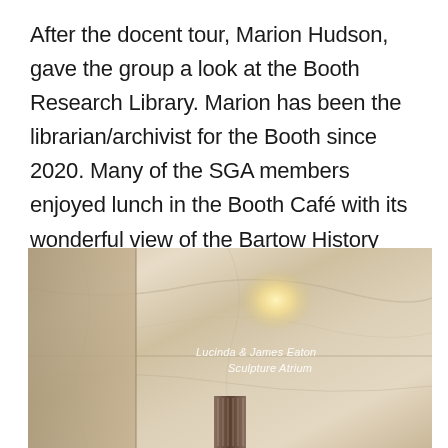After the docent tour, Marion Hudson, gave the group a look at the Booth Research Library. Marion has been the librarian/archivist for the Booth since 2020. Many of the SGA members enjoyed lunch in the Booth Café with its wonderful view of the Bartow History Museum, which is housed in the historical courthouse.
[Figure (photo): Interior photo showing a marble wall with white italic text reading 'Lucinda & James Eaton Sculpture Atrium', with a warm light orb reflection on the wall and a wooden or metal vertical decorative element at the bottom center.]